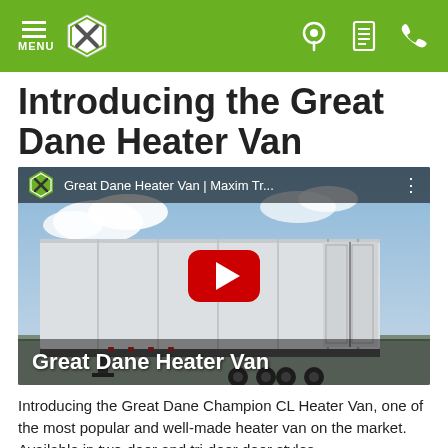MENU | [Logo] | [Location icon] [List icon] [Phone icon]
Introducing the Great Dane Heater Van
[Figure (screenshot): YouTube video thumbnail showing a Great Dane trailer van with title 'Great Dane Heater Van | Maxim Tr...' and a YouTube play button overlay. Bottom overlay text reads 'Great Dane Heater Van'.]
Introducing the Great Dane Champion CL Heater Van, one of the most popular and well-made heater van on the market. Available in two-door and tri-door door styles...